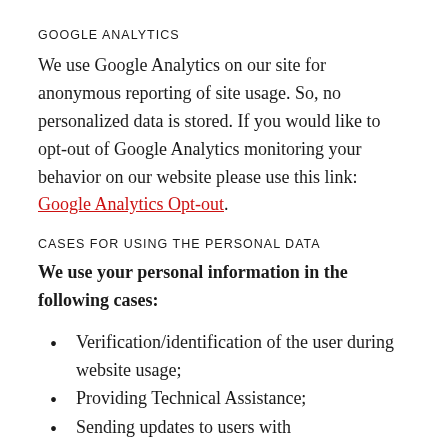GOOGLE ANALYTICS
We use Google Analytics on our site for anonymous reporting of site usage. So, no personalized data is stored. If you would like to opt-out of Google Analytics monitoring your behavior on our website please use this link: Google Analytics Opt-out.
CASES FOR USING THE PERSONAL DATA
We use your personal information in the following cases:
Verification/identification of the user during website usage;
Providing Technical Assistance;
Sending updates to users with